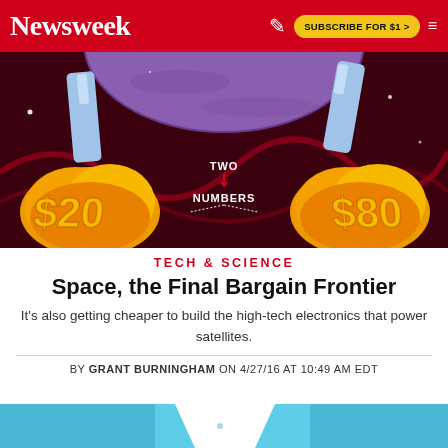Newsweek | SUBSCRIBE FOR $1 >
[Figure (illustration): Colorful illustration of rockets with flames on a dark red/maroon space background, with text 'TWO NUMBERS' visible. Large yellow-orange flame plumes fill the bottom of the image.]
TECH & SCIENCE
Space, the Final Bargain Frontier
It's also getting cheaper to build the high-tech electronics that power satellites.
BY GRANT BURNINGHAM ON 4/27/16 AT 10:49 AM EDT
[Figure (photo): Partial view of a blue/cyan colored image at the bottom of the page, appears to be another illustration or photo related to the article.]